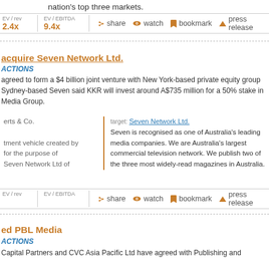nation's top three markets.
EV / rev  2.4x   EV / EBITDA  9.4x   share   watch   bookmark   press release
acquire Seven Network Ltd.
ACTIONS
agreed to form a $4 billion joint venture with New York-based private equity group Sydney-based Seven said KKR will invest around A$735 million for a 50% stake in Media Group.
erts & Co.   target: Seven Network Ltd.   Seven is recognised as one of Australia's leading media companies. We are Australia's largest commercial television network. We publish two of the three most widely-read magazines in Australia.   tment vehicle created by for the purpose of Seven Network Ltd of
EV / rev   EV / EBITDA   share   watch   bookmark   press release
ed PBL Media
ACTIONS
Capital Partners and CVC Asia Pacific Ltd have agreed with Publishing and